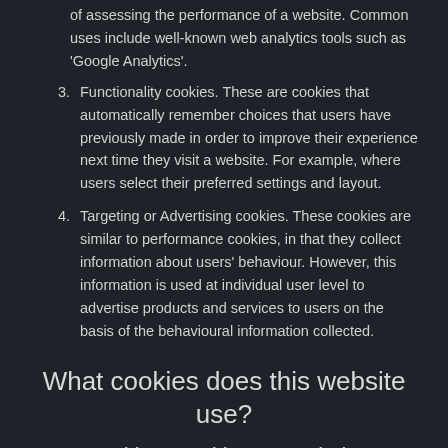of assessing the performance of a website. Common uses include well-known web analytics tools such as 'Google Analytics'.
3. Functionality cookies. These are cookies that automatically remember choices that users have previously made in order to improve their experience next time they visit a website. For example, where users select their preferred settings and layout.
4. Targeting or Advertising cookies. These cookies are similar to performance cookies, in that they collect information about users' behaviour. However, this information is used at individual user level to advertise products and services to users on the basis of the behavioural information collected.
What cookies does this website use?
Cookies used by our website